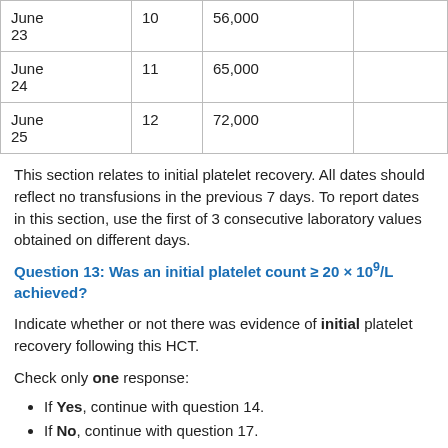| Date | Day | Platelet Count |  |
| --- | --- | --- | --- |
| June 23 | 10 | 56,000 |  |
| June 24 | 11 | 65,000 |  |
| June 25 | 12 | 72,000 |  |
This section relates to initial platelet recovery. All dates should reflect no transfusions in the previous 7 days. To report dates in this section, use the first of 3 consecutive laboratory values obtained on different days.
Question 13: Was an initial platelet count ≥ 20 × 10⁹/L achieved?
Indicate whether or not there was evidence of initial platelet recovery following this HCT.
Check only one response:
If Yes, continue with question 14.
If No, continue with question 17.